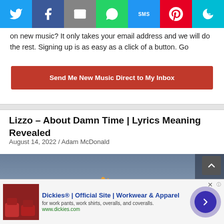[Figure (other): Social share bar with Twitter, Facebook, Email, WhatsApp, SMS, Pinterest, and More buttons]
on new music? It only takes your email address and we will do the rest. Signing up is as easy as a click of a button. Go
Send Me New Music Direct to My Inbox
Lizzo – About Damn Time | Lyrics Meaning Revealed
August 14, 2022 / Adam McDonald
[Figure (photo): Music video still showing two people near flames on water, dark atmospheric scene]
Dickies® | Official Site | Workwear & Apparel
for work pants, work shirts, overalls, and coveralls.
www.dickies.com